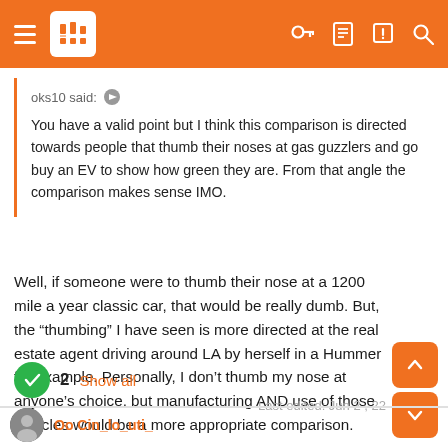Navigation bar with hamburger menu, logo, and icons
oks10 said:
You have a valid point but I think this comparison is directed towards people that thumb their noses at gas guzzlers and go buy an EV to show how green they are. From that angle the comparison makes sense IMO.
Well, if someone were to thumb their nose at a 1200 mile a year classic car, that would be really dumb. But, the "thumbing" I have seen is more directed at the real estate agent driving around LA by herself in a Hummer for example. Personally, I don't thumb my nose at anyone's choice, but manufacturing AND use of those vehicles would be a more appropriate comparison.
Last edited: Jun 2, 22
2  Show all